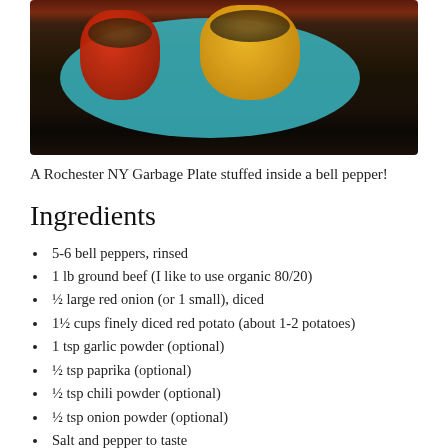[Figure (photo): Photo of stuffed bell peppers (red and yellow) filled with a meat and potato mixture, served on a teal plate on a dark wooden surface.]
A Rochester NY Garbage Plate stuffed inside a bell pepper!
Ingredients
5-6 bell peppers, rinsed
1 lb ground beef (I like to use organic 80/20)
½ large red onion (or 1 small), diced
1½ cups finely diced red potato (about 1-2 potatoes)
1 tsp garlic powder (optional)
½ tsp paprika (optional)
½ tsp chili powder (optional)
½ tsp onion powder (optional)
Salt and pepper to taste
1 15 oz can lentils, rinsed and drained